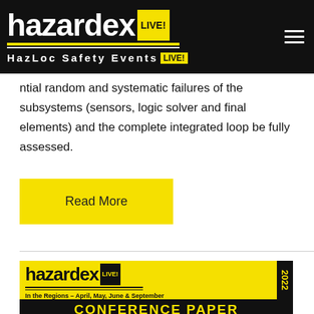[Figure (logo): HazardEx LIVE! HazLoc Safety Events logo on black background header bar with hamburger menu icon]
ntial random and systematic failures of the subsystems (sensors, logic solver and final elements) and the complete integrated loop be fully assessed.
Read More
[Figure (logo): HazardEx LIVE! 2022 conference banner in yellow and black. In the Regions - April, May, June & September. CONFERENCE PAPER.]